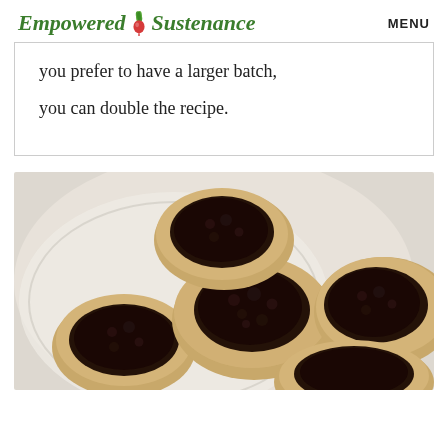Empowered Sustenance  MENU
you prefer to have a larger batch, you can double the recipe.
[Figure (photo): Photo of thumbprint cookies filled with dark blueberry or blackberry jam/compote, arranged on a white plate, viewed from above at a slight angle.]